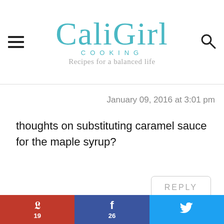CaliGirl COOKING — Recipes for a balanced life
January 09, 2016 at 3:01 pm
thoughts on substituting caramel sauce for the maple syrup?
REPLY
robinterry1@gmail.com
Pinterest 19 | Facebook 26 | Twitter